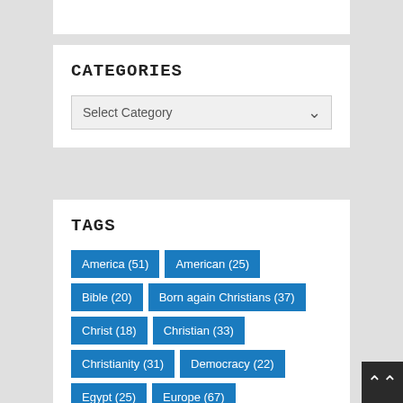CATEGORIES
Select Category
TAGS
America (51)
American (25)
Bible (20)
Born again Christians (37)
Christ (18)
Christian (33)
Christianity (31)
Democracy (22)
Egypt (25)
Europe (67)